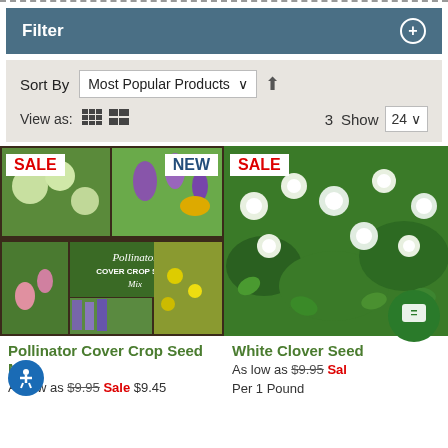Filter
Sort By  Most Popular Products
View as:   3  Show  24
[Figure (photo): Pollinator Cover Crop Seed Mix product image collage with SALE and NEW badges]
[Figure (photo): White Clover Seed product image with SALE badge]
Pollinator Cover Crop Seed Mix
As low as $9.95 Sale $9.45
White Clover Seed
As low as $9.95 Sale